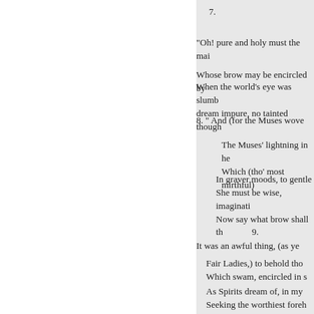7.
“Oh! pure and holy must the mai
Whose brow may be encircled by
When the world's eye was slumb dream impure, no tainted though
8. “ And (for the Muses wove
The Muses’ lightning in he Which (tho’ most mirthful)
In graver moods, to gentle She must be wise, imaginati Now say what brow shall th
9.
It was an awful thing, (as ye
Fair Ladies,) to behold tho Which swam, encircled in s
As Spirits dream of, in my Seeking the worthiest foreh Whose